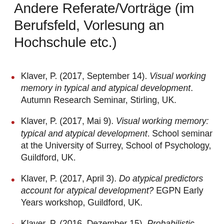Andere Referate/Vorträge (im Berufsfeld, Vorlesung an Hochschule etc.)
Klaver, P. (2017, September 14). Visual working memory in typical and atypical development. Autumn Research Seminar, Stirling, UK.
Klaver, P. (2017, Mai 9). Visual working memory: typical and atypical development. School seminar at the University of Surrey, School of Psychology, Guildford, UK.
Klaver, P. (2017, April 3). Do atypical predictors account for atypical development? EGPN Early Years workshop, Guildford, UK.
Klaver, P. (2016, Dezember 15). Probabilistic ...